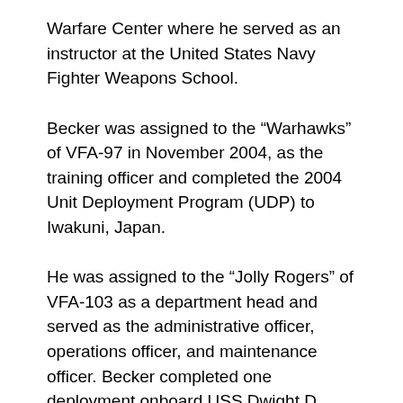Warfare Center where he served as an instructor at the United States Navy Fighter Weapons School.
Becker was assigned to the “Warhawks” of VFA-97 in November 2004, as the training officer and completed the 2004 Unit Deployment Program (UDP) to Iwakuni, Japan.
He was assigned to the “Jolly Rogers” of VFA-103 as a department head and served as the administrative officer, operations officer, and maintenance officer. Becker completed one deployment onboard USS Dwight D. Eisenhower (CVN 69) supporting Operations